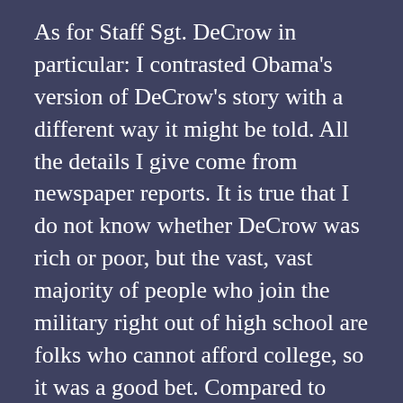As for Staff Sgt. DeCrow in particular: I contrasted Obama's version of DeCrow's story with a different way it might be told. All the details I give come from newspaper reports. It is true that I do not know whether DeCrow was rich or poor, but the vast, vast majority of people who join the military right out of high school are folks who cannot afford college, so it was a good bet. Compared to what Obama left out of his story — especially the fact that he was only on base because his paperwork was taking so long — it's God's truth.